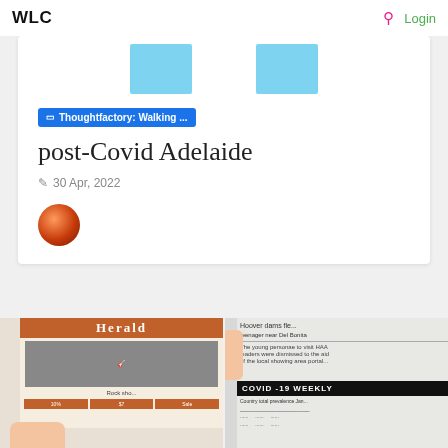WLC   🔍   Login
[Figure (screenshot): Two light blue placeholder rectangles side by side, partially visible at top of card]
Thoughtfactory: Walking ...
post-Covid Adelaide
✏ 30 Apr, 2022
[Figure (photo): Orange circular avatar/profile image]
[Figure (photo): Two photographs side by side at bottom: left shows a hand holding a newspaper (Herald) with a rock band photo and orange advertisement boxes; right shows another newspaper page with COVID-19 WEEKLY headline in black banner]